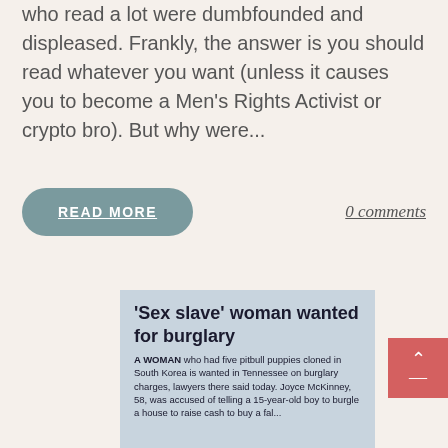who read a lot were dumbfounded and displeased. Frankly, the answer is you should read whatever you want (unless it causes you to become a Men's Rights Activist or crypto bro). But why were...
READ MORE
0 comments
[Figure (photo): Newspaper clipping with headline ''Sex slave' woman wanted for burglary' and body text: 'A WOMAN who had five pitbull puppies cloned in South Korea is wanted in Tennessee on burglary charges, lawyers there said today. Joyce McKinney, 58, was accused of telling a 15-year-old boy to burgle a house to raise cash to buy a...']